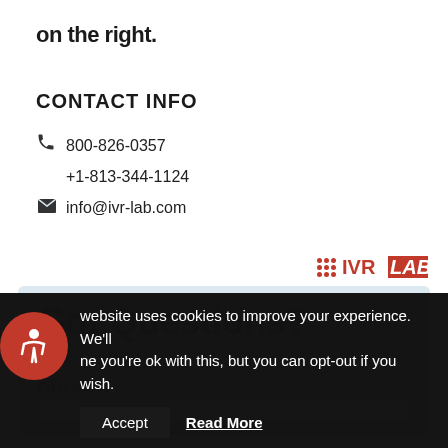on the right.
CONTACT INFO
800-826-0357
+1-813-344-1124
info@ivr-lab.com
[Figure (logo): IVR LAB logo with red dots and text]
Got Questions?
We have answers!
First Name *